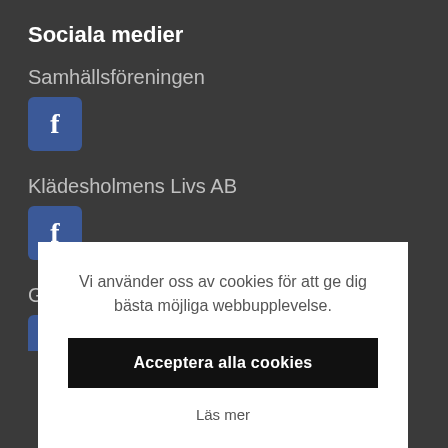Sociala medier
Samhällsföreningen
[Figure (logo): Facebook icon button (blue square with white f letter) for Samhällsföreningen]
Klädesholmens Livs AB
[Figure (logo): Facebook icon button (blue square with white f letter) for Klädesholmens Livs AB]
Gästhamnen
[Figure (logo): Facebook icon button (blue square with white f letter) for Gästhamnen, partially visible]
Vi använder oss av cookies för att ge dig bästa möjliga webbupplevelse.
Acceptera alla cookies
Läs mer